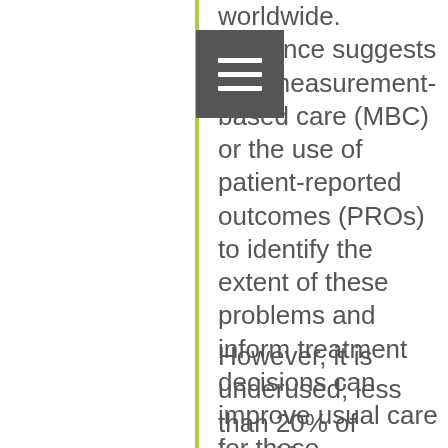worldwide. Evidence suggests that measurement-based care (MBC) or the use of patient-reported outcomes (PROs) to identify the extent of these problems and inform treatment decisions can improve usual care for these conditions.
However, it is underused; less than 20% of practitioners (17.9% of psychiatrists, 11.1% of